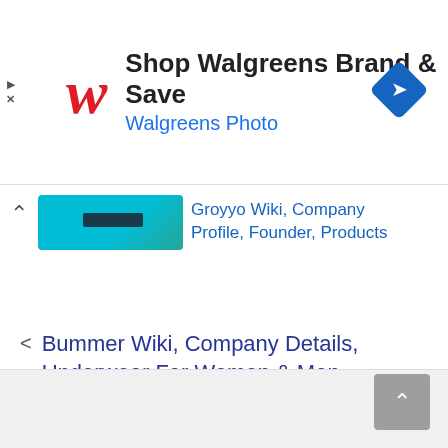[Figure (screenshot): Walgreens advertisement banner with red cursive W logo, text 'Shop Walgreens Brand & Save' and 'Walgreens Photo' in blue, and blue diamond navigation icon on the right]
Groyyo Wiki, Company Profile, Founder, Products
< Bummer Wiki, Company Details, Underwear For Women & Men, Founder
> List of Largest Walmart Store in Florida